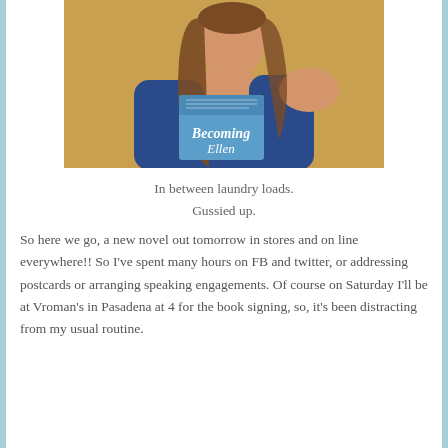[Figure (photo): Woman in blue dress holding a book titled 'Becoming Ellen', photographed against an orange/warm background]
In between laundry loads.
Gussied up.
So here we go, a new novel out tomorrow in stores and on line everywhere!! So I've spent many hours on FB and twitter, or addressing postcards or arranging speaking engagements. Of course on Saturday I'll be at Vroman's in Pasadena at 4 for the book signing, so, it's been distracting from my usual routine.